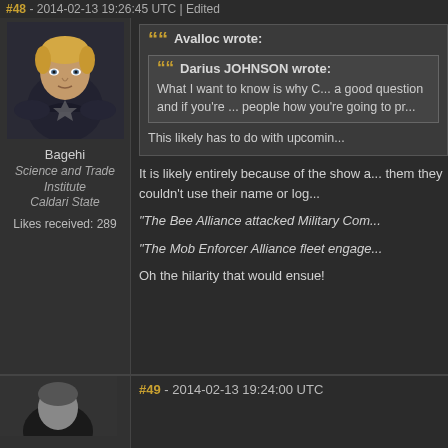#48 - 2014-02-13 19:26:45 UTC | Edited
[Figure (photo): Forum user avatar showing a blonde male character in dark armor from a sci-fi game (EVE Online)]
Bagehi
Science and Trade Institute
Caldari State
Likes received: 289
Avalloc wrote:
Darius JOHNSON wrote:
What I want to know is why C... a good question and if you're ... people how you're going to pr...
This likely has to do with upcomin...
It is likely entirely because of the show a... them they couldn't use their name or log...
"The Bee Alliance attacked Military Com...
"The Mob Enforcer Alliance fleet engage...
Oh the hilarity that would ensue!
#49 - 2014-02-13 19:24:00 UTC